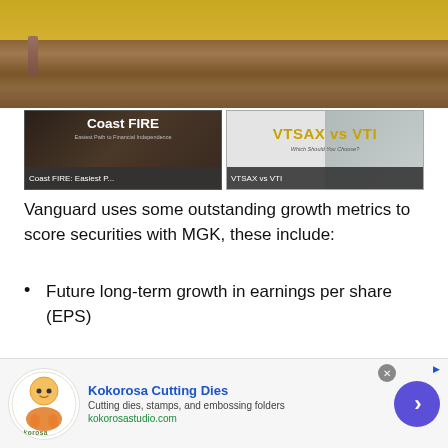[Figure (screenshot): Screenshot showing two video thumbnails: 'Coast FIRE: Easiest P...' on the left with dark background, and 'VTSAX vs VTI' on the right with grey and white background. Above them is a partial image of a wooden surface with gold/yellow background.]
Vanguard uses some outstanding growth metrics to score securities with MGK, these include:
Future long-term growth in earnings per share (EPS)
Future short-term growth in EPS
Three year historical growth in EPS
[Figure (screenshot): Advertisement banner for Kokorosa Cutting Dies showing logo, title 'Kokorosa Cutting Dies', description 'Cutting dies, stamps, and embossing folders', URL 'kokorosastudio.com', a close button, and a purple circular arrow button.]